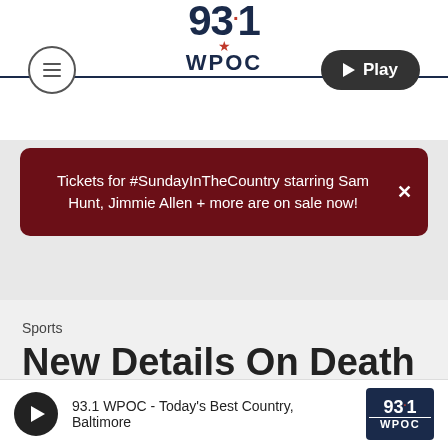[Figure (logo): 93.1 WPOC radio station logo with dark navy text and red star/dot accent]
Tickets for #SundayInTheCountry starring Sam Hunt, Jimmie Allen + more are on sale now!
Sports
New Details On Death Of
93.1 WPOC - Today's Best Country, Baltimore